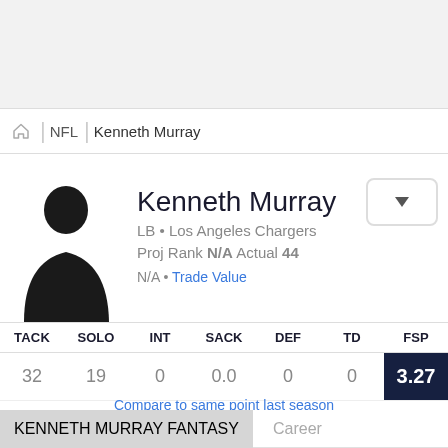NFL · Kenneth Murray
Kenneth Murray
LB • Los Angeles Chargers
Proj Rank N/A Actual 44
N/A • Trade Value
| TACK | SOLO | INT | SACK | DEF | TD | FSP |
| --- | --- | --- | --- | --- | --- | --- |
| 32 | 19 | 0 | 0.0 | 0 | 0 | 3.27 |
Compare to same point last season
News
Game Log
Graph
Career
KENNETH MURRAY FANTASY